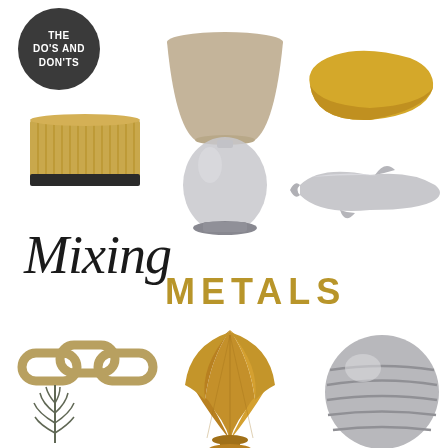[Figure (infographic): Interior design mood board titled 'Mixing Metals - The Do's and Don'ts' featuring various home decor items: dark circle badge with text, ribbed gold/brass box, table lamp with grey glass base and taupe shade, yellow ceramic boat bowl, silver sculptural fish figurine, brass chain link sculpture, gold shell/fan vase, silver ribbed orb vase, and a small decorative fern/leaf]
THE DO'S AND DON'TS
Mixing METALS